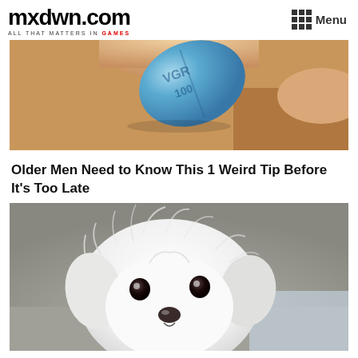mxdwn.com — ALL THAT MATTERS IN GAMES — Menu
[Figure (photo): Close-up photo of fingers holding a blue diamond-shaped pill (Viagra) with embossed text]
Older Men Need to Know This 1 Weird Tip Before It's Too Late
[Figure (photo): Close-up photo of a tiny white fluffy puppy (Maltese) looking at the camera with big dark eyes]